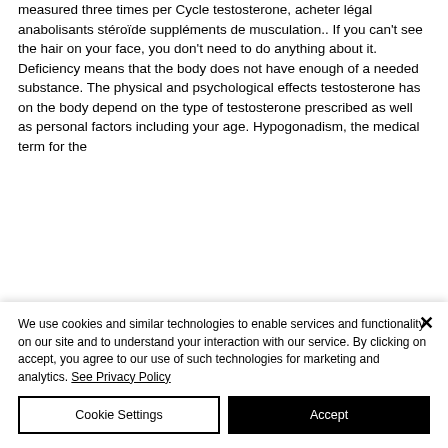measured three times per Cycle testosterone, acheter légal anabolisants stéroïde suppléments de musculation.. If you can't see the hair on your face, you don't need to do anything about it. Deficiency means that the body does not have enough of a needed substance. The physical and psychological effects testosterone has on the body depend on the type of testosterone prescribed as well as personal factors including your age. Hypogonadism, the medical term for the
We use cookies and similar technologies to enable services and functionality on our site and to understand your interaction with our service. By clicking on accept, you agree to our use of such technologies for marketing and analytics. See Privacy Policy